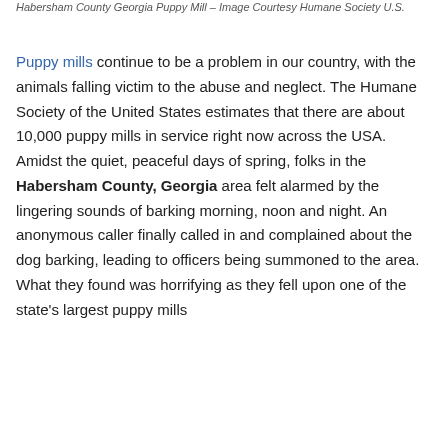Habersham County Georgia Puppy Mill – Image Courtesy Humane Society U.S.
Puppy mills continue to be a problem in our country, with the animals falling victim to the abuse and neglect. The Humane Society of the United States estimates that there are about 10,000 puppy mills in service right now across the USA. Amidst the quiet, peaceful days of spring, folks in the Habersham County, Georgia area felt alarmed by the lingering sounds of barking morning, noon and night. An anonymous caller finally called in and complained about the dog barking, leading to officers being summoned to the area. What they found was horrifying as they fell upon one of the state's largest puppy mills